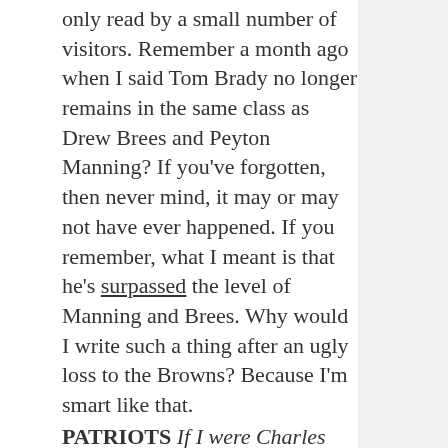only read by a small number of visitors. Remember a month ago when I said Tom Brady no longer remains in the same class as Drew Brees and Peyton Manning? If you've forgotten, then never mind, it may or may not have ever happened. If you remember, what I meant is that he's surpassed the level of Manning and Brees. Why would I write such a thing after an ugly loss to the Browns? Because I'm smart like that.
PATRIOTS If I were Charles Barkely; Patriots -3
Game to Watch: Chiefs at Chargers
Game on Call: Patriots at Bears